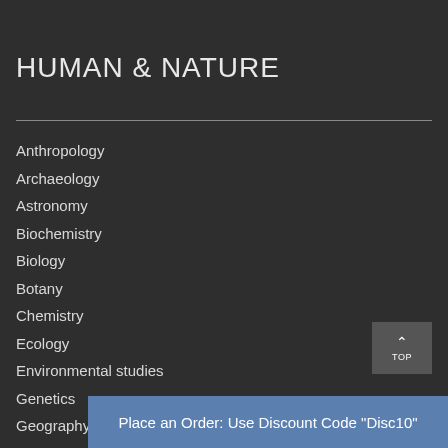HUMAN & NATURE
Anthropology
Archaeology
Astronomy
Biochemistry
Biology
Botany
Chemistry
Ecology
Environmental studies
Genetics
Geography
Medicine
Nursing
Physics
Place an Order: Use Discount Code "Disc10"